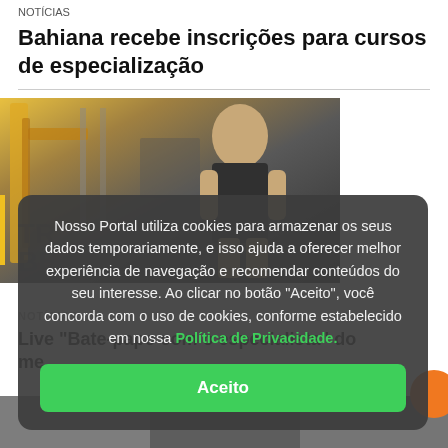NOTÍCIAS
Bahiana recebe inscrições para cursos de especialização
[Figure (photo): Photo of a young man exercising in a gym with yellow equipment visible in background]
Nosso Portal utiliza cookies para armazenar os seus dados temporariamente, e isso ajuda a oferecer melhor experiência de navegação e recomendar conteúdos do seu interesse. Ao clicar no botão "Aceito", você concorda com o uso de cookies, conforme estabelecido em nossa Política de Privacidade.
Aceito
NOTÍCIAS
Live "Bate-papo com o especialista" do me